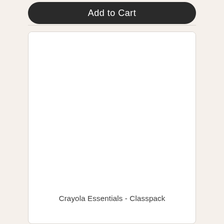[Figure (other): Add to Cart button — dark rounded rectangle with white text]
[Figure (photo): Product image area for Crayola Essentials Classpack — white empty product card image region]
Crayola Essentials - Classpack